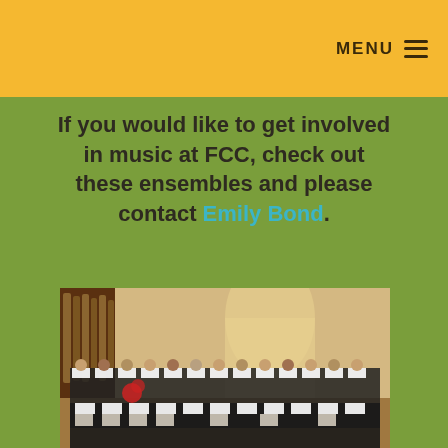MENU ≡
If you would like to get involved in music at FCC, check out these ensembles and please contact Emily Bond.
[Figure (photo): A large choir performing in a church setting. Singers are wearing black and white robes and holding sheet music. Large pipe organ visible in the background on the left. Gothic arch window visible in the background.]